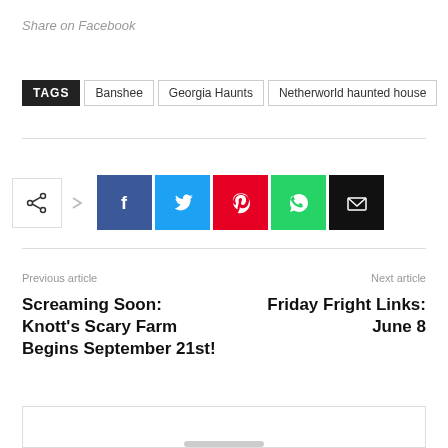Share on Facebook
TAGS  Banshee  Georgia Haunts  Netherworld haunted house
[Figure (infographic): Social share icons row: share button outline, right arrow, then colored square buttons for Facebook (blue), Twitter (cyan), Pinterest (red), WhatsApp (green), Email (black)]
Previous article
Next article
Screaming Soon: Knott's Scary Farm Begins September 21st!
Friday Fright Links: June 8